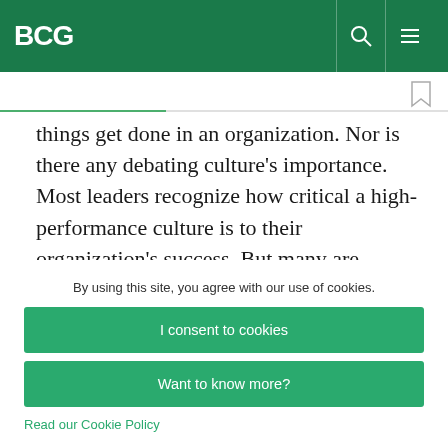BCG
things get done in an organization. Nor is there any debating culture’s importance. Most leaders recognize how critical a high-performance culture is to their organization’s success. But many are discouraged by the yawning gap between their
By using this site, you agree with our use of cookies.
I consent to cookies
Want to know more?
Read our Cookie Policy